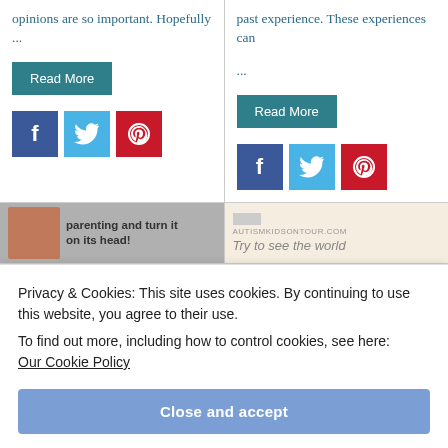opinions are so important. Hopefully ...
past experience. These experiences can ...
[Figure (screenshot): Read More button (teal) for left card]
[Figure (screenshot): Read More button (teal) for right card]
[Figure (infographic): Social share icons: Facebook (dark blue), Twitter (light blue), Pinterest (red) — left card]
[Figure (infographic): Social share icons: Facebook (dark blue), Twitter (light blue), Pinterest (red) — right card]
[Figure (screenshot): Preview image left: child photo with text 'parenting and turn it on its head!']
[Figure (screenshot): Preview image right: autismkidsontour.com — 'Try to see the world']
Privacy & Cookies: This site uses cookies. By continuing to use this website, you agree to their use.
To find out more, including how to control cookies, see here:
Our Cookie Policy
Close and accept